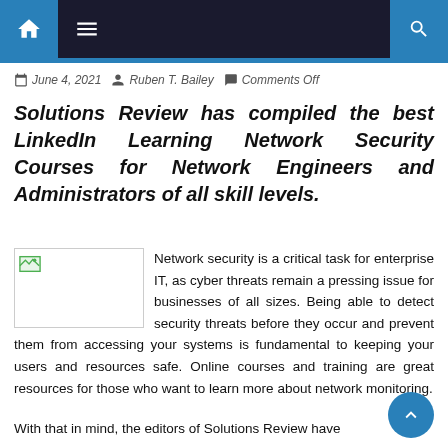Navigation bar with home, menu, and search icons
June 4, 2021  Ruben T. Bailey  Comments Off
Solutions Review has compiled the best LinkedIn Learning Network Security Courses for Network Engineers and Administrators of all skill levels.
[Figure (photo): Small thumbnail image placeholder with broken image icon]
Network security is a critical task for enterprise IT, as cyber threats remain a pressing issue for businesses of all sizes. Being able to detect security threats before they occur and prevent them from accessing your systems is fundamental to keeping your users and resources safe. Online courses and training are great resources for those who want to learn more about network monitoring.
With that in mind, the editors of Solutions Review have